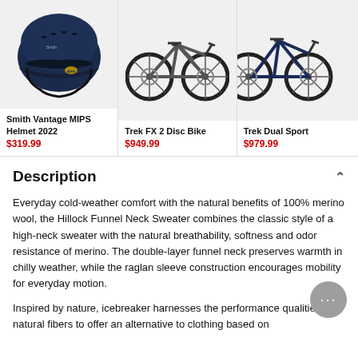[Figure (photo): Smith Vantage MIPS Helmet 2022 - dark navy blue ski helmet]
Smith Vantage MIPS Helmet 2022
$319.99
[Figure (photo): Trek FX 2 Disc Bike - grey hybrid bicycle]
Trek FX 2 Disc Bike
$949.99
[Figure (photo): Trek Dual Sport - partially visible bicycle]
Trek Dual Sport
$979.99
Description
Everyday cold-weather comfort with the natural benefits of 100% merino wool, the Hillock Funnel Neck Sweater combines the classic style of a high-neck sweater with the natural breathability, softness and odor resistance of merino. The double-layer funnel neck preserves warmth in chilly weather, while the raglan sleeve construction encourages mobility for everyday motion.
Inspired by nature, icebreaker harnesses the performance qualities of natural fibers to offer an alternative to clothing based on